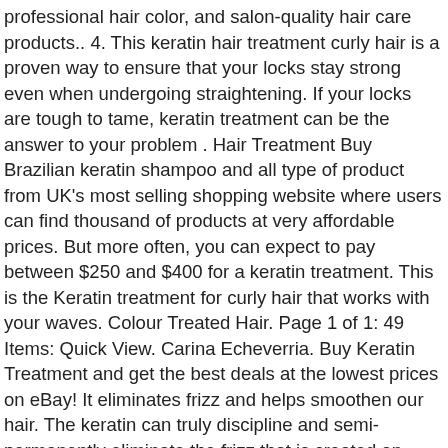professional hair color, and salon-quality hair care products.. 4. This keratin hair treatment curly hair is a proven way to ensure that your locks stay strong even when undergoing straightening. If your locks are tough to tame, keratin treatment can be the answer to your problem . Hair Treatment Buy Brazilian keratin shampoo and all type of product from UK's most selling shopping website where users can find thousand of products at very affordable prices. But more often, you can expect to pay between $250 and $400 for a keratin treatment. This is the Keratin treatment for curly hair that works with your waves. Colour Treated Hair. Page 1 of 1: 49 Items: Quick View. Carina Echeverria. Buy Keratin Treatment and get the best deals at the lowest prices on eBay! It eliminates frizz and helps smoothen our hair. The keratin can truly discipline and semi-permanently eliminate the frizz that is created on long and short hair. Ammonia-Free. This treatment is quite suited for people who have very curly hair and the end result is poker straight hair. Anuncios . This type of treatment allows your hair to look straight and silky. Regular deep conditioning curly hair smooths and protects, making curly hair less prone to frizz. RECENTLY VIEWED: Home > Hair Type > Keratin Treated. But the truth is, I was scared. Many stylists to whom I have given the responsibility to tame my rebellious hair with an infinite amount of curls suggested that I do the famous keratin treatment. Hair are washed again to rinse off keratin. Japanese Hair Treatment. This